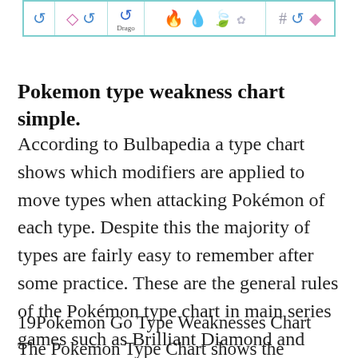[Figure (other): A row of Pokemon type icons in a table with cyan border, showing water, fire/ice, dragon, fire/water/grass/wind, and steel/water/fairy type symbols]
Pokemon type weakness chart simple.
According to Bulbapedia a type chart shows which modifiers are applied to move types when attacking Pokémon of each type. Despite this the majority of types are fairly easy to remember after some practice. These are the general rules of the Pokémon type chart in main series games such as Brilliant Diamond and Shining Pearl and Sword and Shield.
19Pokemon Go Type Weaknesses Chart The Pokemon Type Chart shows the varieties of